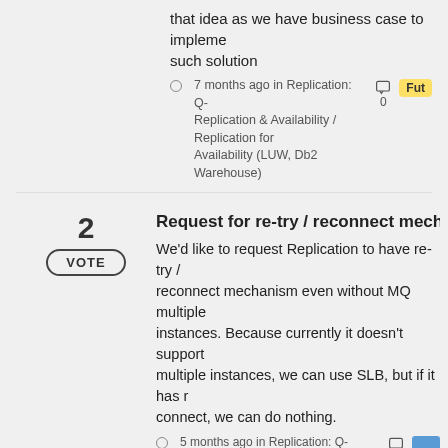that idea as we have business case to implement such solution
7 months ago in Replication: Q-Replication & Availability / Replication for Availability (LUW, Db2 Warehouse)
Request for re-try / reconnect mechanis…
We'd like to request Replication to have re-try / reconnect mechanism even without MQ multiple instances. Because currently it doesn't support multiple instances, we can use SLB, but if it has reconnect, we can do nothing.
5 months ago in Replication: Q-Replication & Availability / Replication for Availability (LUW, Db2 Warehouse)
Request for supporting MQ automatic cli… reconnect
As we know, IBM MQ supports multi-instance configuration and automatic client reconnect since version 7.0.1. Recently we found the latest Q-…